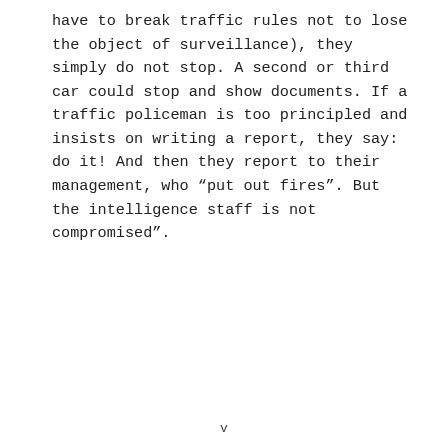have to break traffic rules not to lose the object of surveillance), they simply do not stop. A second or third car could stop and show documents. If a traffic policeman is too principled and insists on writing a report, they say: do it! And then they report to their management, who “put out fires”. But the intelligence staff is not compromised”.
v